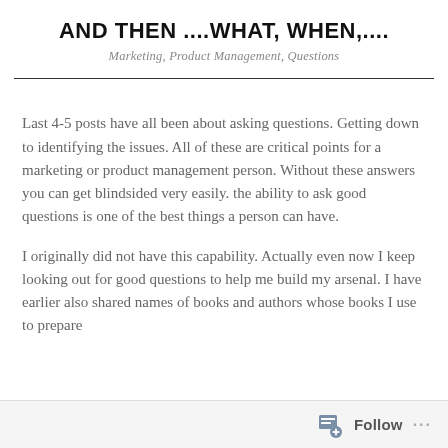AND THEN ....WHAT, WHEN,....
Marketing, Product Management, Questions
Last 4-5 posts have all been about asking questions. Getting down to identifying the issues. All of these are critical points for a marketing or product management person. Without these answers you can get blindsided very easily. the ability to ask good questions is one of the best things a person can have.
I originally did not have this capability. Actually even now I keep looking out for good questions to help me build my arsenal. I have earlier also shared names of books and authors whose books I use to prepare
Follow ...